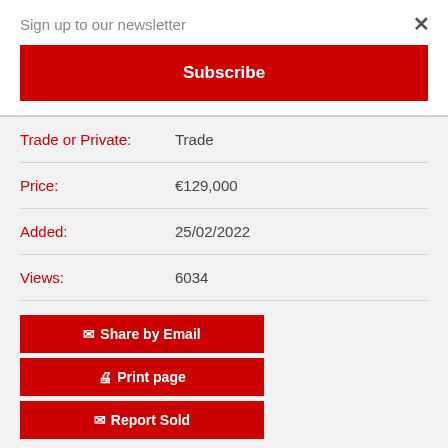Sign up to our newsletter
Subscribe
| Trade or Private: | Trade |
| Price: | €129,000 |
| Added: | 25/02/2022 |
| Views: | 6034 |
✉ Share by Email
🖨 Print page
✉ Report Sold
✉ Contact seller